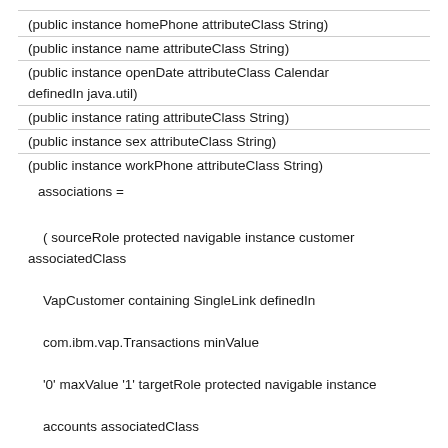(public instance homePhone attributeClass String)
(public instance name attributeClass String)
(public instance openDate attributeClass Calendar definedIn java.util)
(public instance rating attributeClass String)
(public instance sex attributeClass String)
(public instance workPhone attributeClass String)
associations =
( sourceRole protected navigable instance customer associatedClass
VapCustomer containing SingleLink definedIn com.ibm.vap.Transactions minValue
'0' maxValue '1' targetRole protected navigable instance accounts associatedClass
VapAccount containing ManyLink definedIn com.ibm.vap.Transactions minValue '0'
maxValue '1')
( sourceRole protected not navigable instance customerForBillingaddress